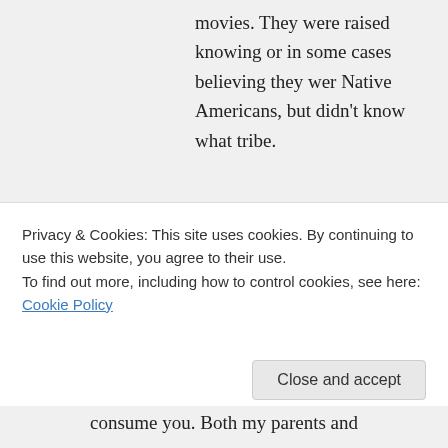movies. They were raised knowing or in some cases believing they wer Native Americans, but didn't know what tribe.
↪ Reply
Esther on February 21, 2020 at 3:55 pm
Hello Michael, My name is Esther Billiot. My Father is Anthony Billiot.
Privacy & Cookies: This site uses cookies. By continuing to use this website, you agree to their use.
To find out more, including how to control cookies, see here: Cookie Policy
Close and accept
consume you. Both my parents and